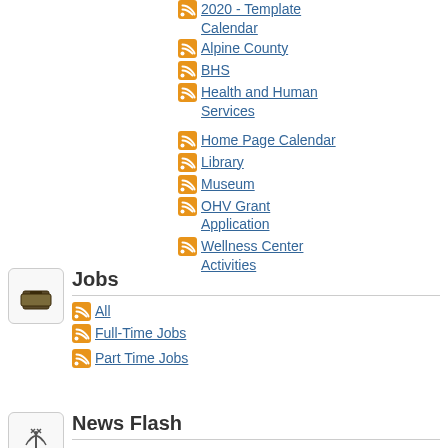2020 - Template Calendar
Alpine County
BHS
Health and Human Services
Home Page Calendar
Library
Museum
OHV Grant Application
Wellness Center Activities
Jobs
All
Full-Time Jobs
Part Time Jobs
News Flash